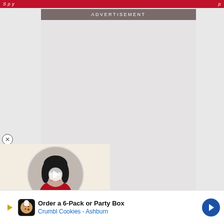ADVERTISEMENT
[Figure (photo): Advertisement placeholder area with gray background]
[Figure (photo): Video thumbnail overlay showing a woman with dark hair in a red outfit, with a circular play button, close button (X) in top left]
Order a 6-Pack or Party Box
Crumbl Cookies - Ashburn